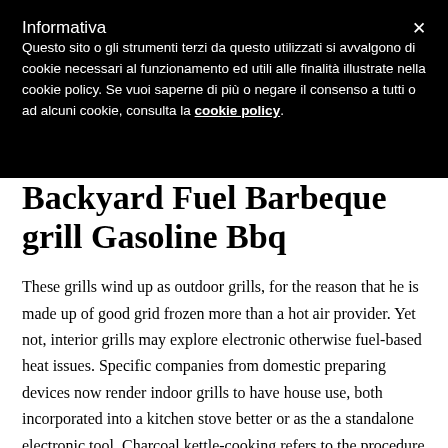Informativa
Questo sito o gli strumenti terzi da questo utilizzati si avvalgono di cookie necessari al funzionamento ed utili alle finalità illustrate nella cookie policy. Se vuoi saperne di più o negare il consenso a tutti o ad alcuni cookie, consulta la cookie policy.
Backyard Fuel Barbeque grill Gasoline Bbq
These grills wind up as outdoor grills, for the reason that he is made up of good grid frozen more than a hot air provider. Yet not, interior grills may explore electronic otherwise fuel-based heat issues. Specific companies from domestic preparing devices now render indoor grills to have house use, both incorporated into a kitchen stove better or as the a standalone electronic tool. Charcoal kettle-cooking refers to the procedure for barbecuing over a